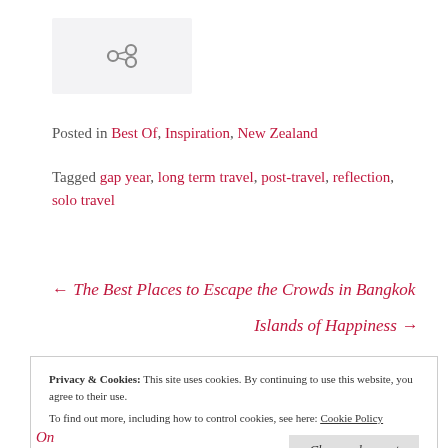[Figure (other): Share/link icon on light grey background]
Posted in Best Of, Inspiration, New Zealand
Tagged gap year, long term travel, post-travel, reflection, solo travel
← The Best Places to Escape the Crowds in Bangkok
Islands of Happiness →
Privacy & Cookies:  This site uses cookies. By continuing to use this website, you agree to their use. To find out more, including how to control cookies, see here: Cookie Policy
Close and accept
On